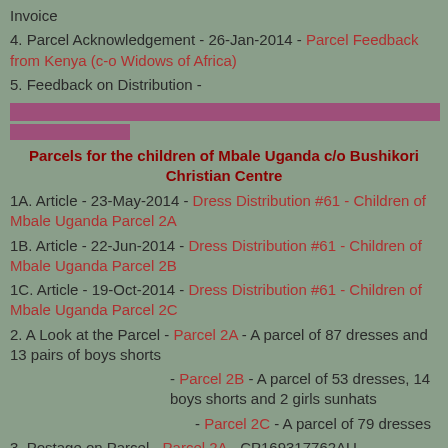Invoice
4. Parcel Acknowledgement - 26-Jan-2014 - Parcel Feedback from Kenya (c-o Widows of Africa)
5. Feedback on Distribution -
[Figure (other): Two horizontal purple/mauve bars as section dividers]
Parcels for the children of Mbale Uganda c/o Bushikori Christian Centre
1A. Article - 23-May-2014 - Dress Distribution #61 - Children of Mbale Uganda Parcel 2A
1B. Article - 22-Jun-2014 - Dress Distribution #61 - Children of Mbale Uganda Parcel 2B
1C. Article - 19-Oct-2014 - Dress Distribution #61 - Children of Mbale Uganda Parcel 2C
2. A Look at the Parcel - Parcel 2A - A parcel of 87 dresses and 13 pairs of boys shorts
- Parcel 2B - A parcel of 53 dresses, 14 boys shorts and 2 girls sunhats
- Parcel 2C - A parcel of 79 dresses
3. Postage on Parcel  - Parcel 2A - CP169317762AU
- Parcel 2B - CP160601583AU